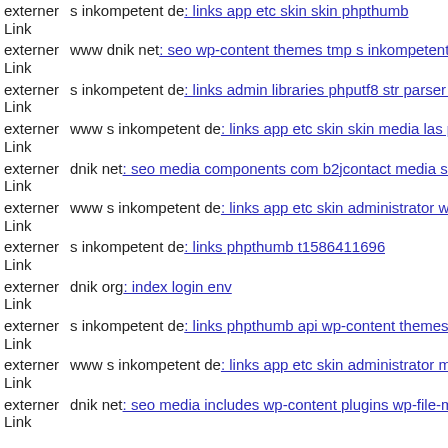externer Link s inkompetent de: links app etc skin skin phpthumb
externer Link www dnik net: seo wp-content themes tmp s inkompetent d
externer Link s inkompetent de: links admin libraries phputf8 str parser ph
externer Link www s inkompetent de: links app etc skin skin media las ph
externer Link dnik net: seo media components com b2jcontact media sites
externer Link www s inkompetent de: links app etc skin administrator wp
externer Link s inkompetent de: links phpthumb t1586411696
externer Link dnik org: index login env
externer Link s inkompetent de: links phpthumb api wp-content themes si
externer Link www s inkompetent de: links app etc skin administrator mo
externer Link dnik net: seo media includes wp-content plugins wp-file-ma